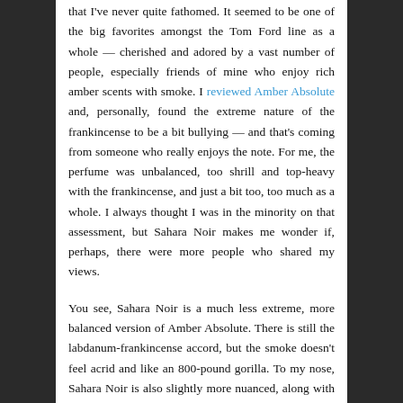that I've never quite fathomed. It seemed to be one of the big favorites amongst the Tom Ford line as a whole — cherished and adored by a vast number of people, especially friends of mine who enjoy rich amber scents with smoke. I reviewed Amber Absolute and, personally, found the extreme nature of the frankincense to be a bit bullying — and that's coming from someone who really enjoys the note. For me, the perfume was unbalanced, too shrill and top-heavy with the frankincense, and just a bit too, too much as a whole. I always thought I was in the minority on that assessment, but Sahara Noir makes me wonder if, perhaps, there were more people who shared my views.
You see, Sahara Noir is a much less extreme, more balanced version of Amber Absolute. There is still the labdanum-frankincense accord, but the smoke doesn't feel acrid and like an 800-pound gorilla. To my nose, Sahara Noir is also slightly more nuanced, along with having a lighter feel and texture, but it's definitely all relative. There are other — albeit small — differences as well. For one thing, the opening to the two fragrances is